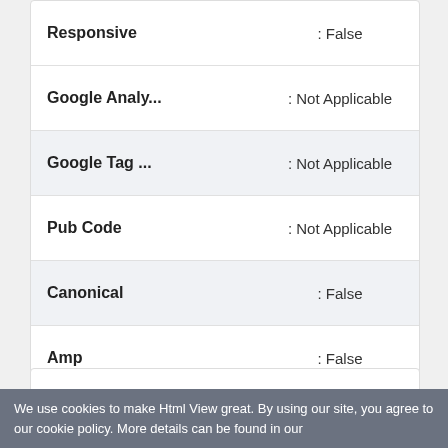| Property | Value |
| --- | --- |
| Responsive | : False |
| Google Analy... | : Not Applicable |
| Google Tag ... | : Not Applicable |
| Pub Code | : Not Applicable |
| Canonical | : False |
| Amp | : False |
No data was found for html size.
We use cookies to make Html View great. By using our site, you agree to our cookie policy. More details can be found in our